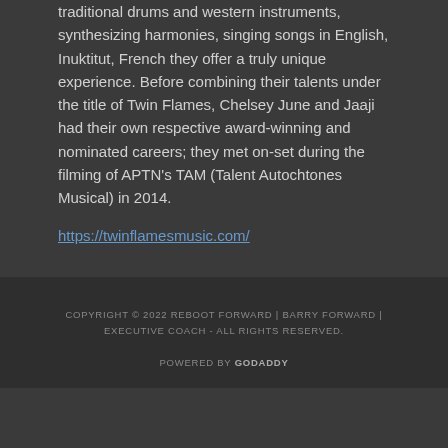traditional drums and western instruments, synthesizing harmonies, singing songs in English, Inuktitut, French they offer a truly unique experience. Before combining their talents under the title of Twin Flames, Chelsey June and Jaaji had their own respective award-winning and nominated careers; they met on-set during the filming of APTN's TAM (Talent Autochtones Musical) in 2014.
https://twinflamesmusic.com/
COPYRIGHT © 2022 REBOOT FORWARD | BARRY FORWARD | EXECUTIVE COACH - ALL RIGHTS RESERVED.
POWERED BY GODADDY